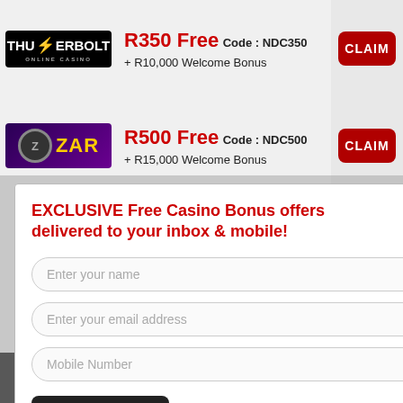[Figure (screenshot): Website showing casino bonus offers table with Thunderbolt and ZAR casino logos, CLAIM buttons, and a popup modal for exclusive free casino bonus email/mobile signup with name, email, mobile fields and a SUBMIT button. Footer shows NEW CASINOS link.]
R350 Free Code : NDC350 + R10,000 Welcome Bonus
R500 Free Code : NDC500 + R15,000 Welcome Bonus
EXCLUSIVE Free Casino Bonus offers delivered to your inbox & mobile!
Enter your name
Enter your email address
Mobile Number
SUBMIT
ans for ins Slot
NEW CASINOS